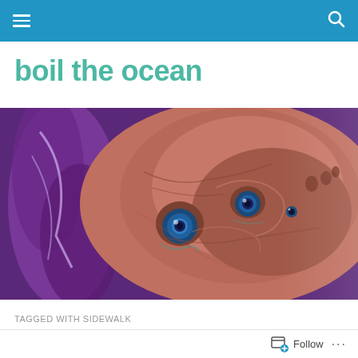Navigation bar with menu and search icons
boil the ocean
[Figure (illustration): Close-up digital illustration of an alien/monster creature face with multiple blue eyes, wrinkled pinkish-brown skin, and purple tentacles in the background]
TAGGED WITH SIDEWALK
The Battle Hymn of Ren McCormack
Follow ...